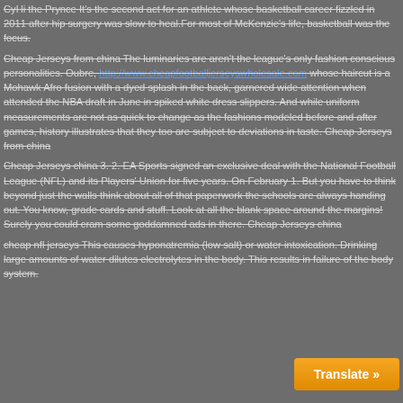CyHi the Prynce It's the second act for an athlete whose basketball career fizzled in 2011 after hip surgery was slow to heal.For most of McKenzie's life, basketball was the focus.
Cheap Jerseys from china The luminaries are aren't the league's only fashion conscious personalities. Oubre, http://www.cheapfootballjerseyswholesale.com whose haircut is a Mohawk Afro fusion with a dyed splash in the back, garnered wide attention when attended the NBA draft in June in spiked white dress slippers. And while uniform measurements are not as quick to change as the fashions modeled before and after games, history illustrates that they too are subject to deviations in taste. Cheap Jerseys from china
Cheap Jerseys china 3. 2. EA Sports signed an exclusive deal with the National Football League (NFL) and its Players' Union for five years. On February 1. But you have to think beyond just the walls think about all of that paperwork the schools are always handing out. You know, grade cards and stuff. Look at all the blank space around the margins! Surely you could cram some goddamned ads in there. Cheap Jerseys china
cheap nfl jerseys This causes hyponatremia (low salt) or water intoxication. Drinking large amounts of water dilutes electrolytes in the body. This results in failure of the body system.